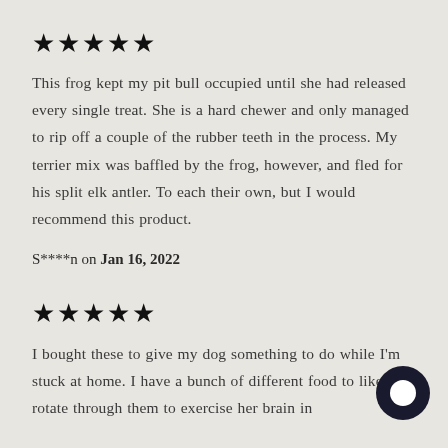★★★★★
This frog kept my pit bull occupied until she had released every single treat. She is a hard chewer and only managed to rip off a couple of the rubber teeth in the process. My terrier mix was baffled by the frog, however, and fled for his split elk antler. To each their own, but I would recommend this product.
S****n on Jan 16, 2022
★★★★★
I bought these to give my dog something to do while I'm stuck at home. I have a bunch of different food to like to rotate through them to exercise her brain in different ways. This one is great because it doesn't require